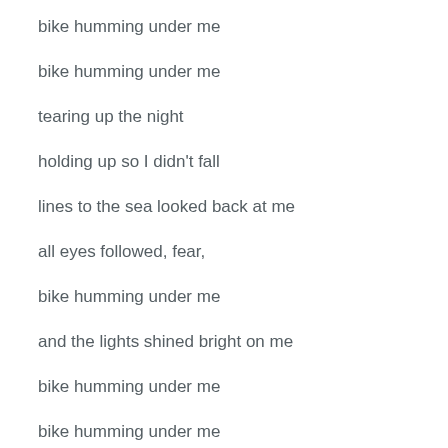bike humming under me
bike humming under me
tearing up the night
holding up so I didn't fall
lines to the sea looked back at me
all eyes followed, fear,
bike humming under me
and the lights shined bright on me
bike humming under me
bike humming under me